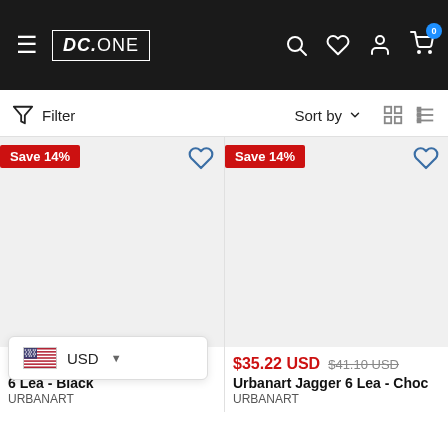DC.ONE — navigation header with hamburger menu, logo, search, wishlist, account, and cart (0 items)
Filter   Sort by   (grid/list view icons)
[Figure (screenshot): Product card 1: Save 14% badge, heart icon, product image area (blank), price $35.22 USD sale / $41.10 USD original, name 'Urbanart Jagger 6 Lea - Black', brand URBANART]
[Figure (screenshot): Product card 2: Save 14% badge, heart icon, product image area (blank), price $35.22 USD sale / $41.10 USD original, name 'Urbanart Jagger 6 Lea - Choc', brand URBANART]
USD currency selector popup with US flag